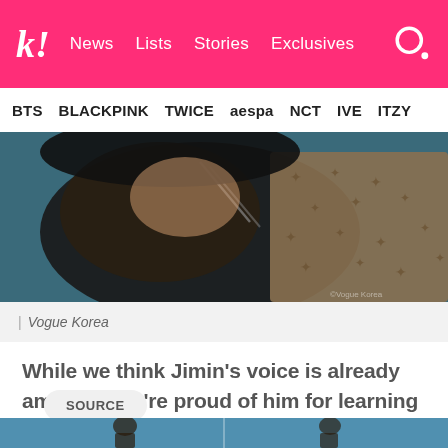k! News Lists Stories Exclusives
BTS BLACKPINK TWICE aespa NCT IVE ITZY
[Figure (photo): Fashion editorial photo of Jimin from BTS wearing dark clothing with Louis Vuitton accessories, from Vogue Korea]
| Vogue Korea
While we think Jimin’s voice is already amazing, we’re proud of him for learning more about his craft and developing his skills!
SOURCE
[Figure (photo): Bottom cropped image showing two figures against a blue sky background]